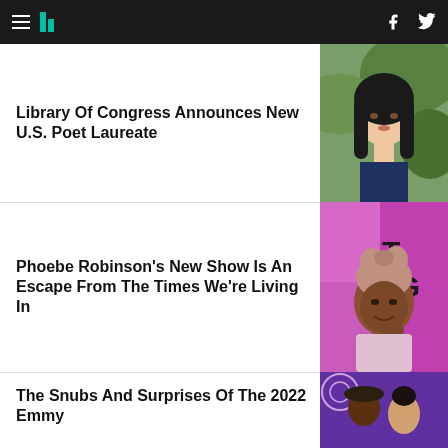HuffPost navigation header with hamburger menu, logo, Facebook and Twitter icons
Library Of Congress Announces New U.S. Poet Laureate
[Figure (photo): Headshot of a woman with long black hair against a green background]
Phoebe Robinson's New Show Is An Escape From The Times We're Living In
[Figure (photo): Phoebe Robinson wearing a pink head wrap and smiling, in front of a purple background with partial text]
The Snubs And Surprises Of The 2022 Emmy
[Figure (photo): Two people at what appears to be an awards ceremony, against a purple background]